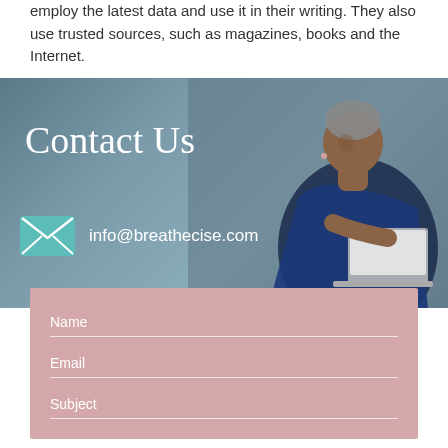employ the latest data and use it in their writing. They also use trusted sources, such as magazines, books and the Internet.
[Figure (photo): Banner image showing a woman sitting in a black chair using a laptop, with a grey-blue background. Text overlaid reads 'Contact Us' and shows an email icon with 'info@breathecise.com'.]
Name
Email
Subject